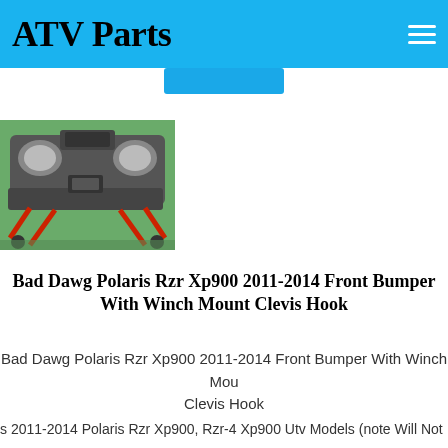ATV Parts
[Figure (photo): Front view of a Polaris RZR XP900 with front bumper, red suspension components, and winch mount clevis hook, parked on grass]
Bad Dawg Polaris Rzr Xp900 2011-2014 Front Bumper With Winch Mount Clevis Hook
Bad Dawg Polaris Rzr Xp900 2011-2014 Front Bumper With Winch Mount Clevis Hook
s 2011-2014 Polaris Rzr Xp900, Rzr-4 Xp900 Utv Models (note Will Not